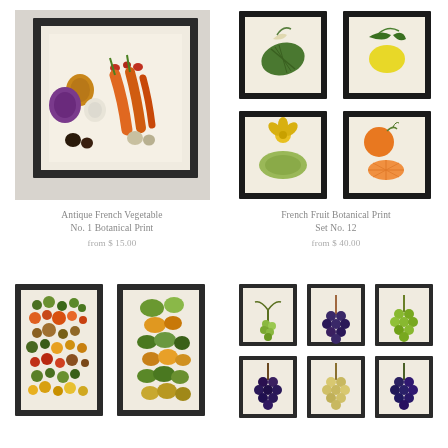[Figure (photo): Framed antique French vegetable botanical print showing onions, carrots, and other vegetables, hung on a white wall]
[Figure (photo): Set of four framed French fruit botanical prints showing melon, lemon, squash/melon, and orange slices arranged in a 2x2 grid]
Antique French Vegetable No. 1 Botanical Print
from $ 15.00
French Fruit Botanical Print Set No. 12
from $ 40.00
[Figure (photo): Two framed botanical prints showing dense collections of fruits, arranged side by side]
[Figure (photo): Six framed botanical prints showing various grape clusters and vines, arranged in a 3x2 grid]